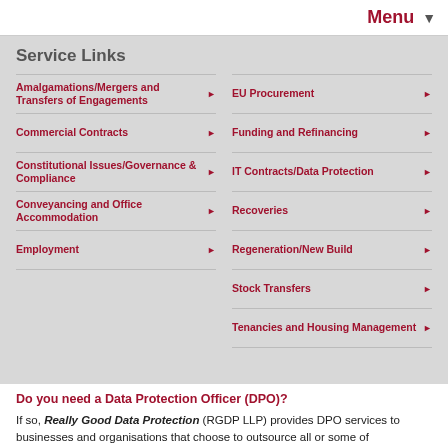Menu
Service Links
Amalgamations/Mergers and Transfers of Engagements
Commercial Contracts
Constitutional Issues/Governance & Compliance
Conveyancing and Office Accommodation
Employment
EU Procurement
Funding and Refinancing
IT Contracts/Data Protection
Recoveries
Regeneration/New Build
Stock Transfers
Tenancies and Housing Management
Do you need a Data Protection Officer (DPO)?
If so, Really Good Data Protection (RGDP LLP) provides DPO services to businesses and organisations that choose to outsource all or some of